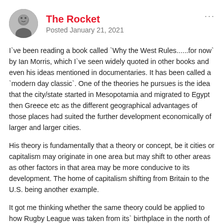The Rocket — Posted January 21, 2021
I`ve been reading a book called `Why the West Rules......for now` by Ian Morris, which I`ve seen widely quoted in other books and even his ideas mentioned in documentaries. It has been called a `modern day classic`. One of the theories he pursues is the idea that the city/state started in Mesopotamia and migrated to Egypt then Greece etc as the different geographical advantages of those places had suited the further development economically of larger and larger cities.
His theory is fundamentally that a theory or concept, be it cities or capitalism may originate in one area but may shift to other areas as other factors in that area may be more conducive to its development. The home of capitalism shifting from Britain to the U.S. being another example.
It got me thinking whether the same theory could be applied to how Rugby League was taken from its` birthplace in the north of England planted in Australia and why it has been so much more successful. Applying Morris`s theory a possible solution that I